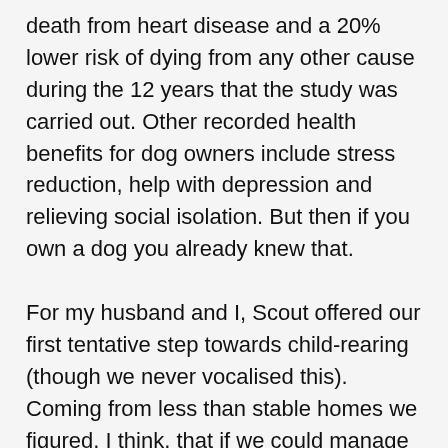death from heart disease and a 20% lower risk of dying from any other cause during the 12 years that the study was carried out. Other recorded health benefits for dog owners include stress reduction, help with depression and relieving social isolation. But then if you own a dog you already knew that.
For my husband and I, Scout offered our first tentative step towards child-rearing (though we never vocalised this). Coming from less than stable homes we figured, I think, that if we could manage a puppy there might be some hope for us in the progeny department. Of course, owning a dog teaches you as much about yourself as it does your